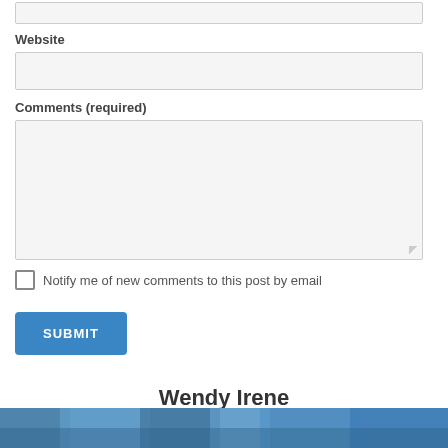Website
Comments (required)
Notify me of new comments to this post by email
SUBMIT
Wendy Irene
[Figure (photo): Partial photo strip at the bottom of the page showing a nature/outdoor scene in blue tones]